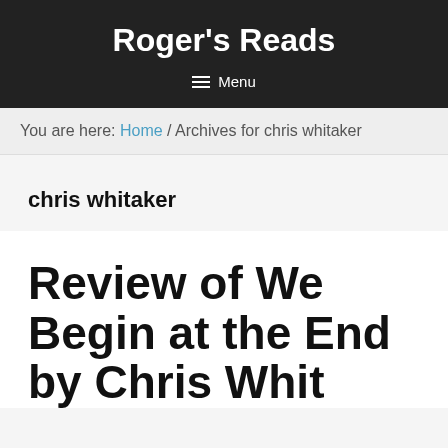Roger's Reads
Menu
You are here: Home / Archives for chris whitaker
chris whitaker
Review of We Begin at the End by Chris Whitaker